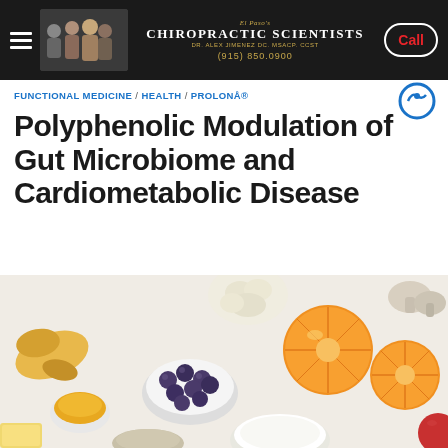El Paso's Chiropractic Scientists Dr. Alex Jimenez DC. MSACP. CCST (915) 850.0900 Call
FUNCTIONAL MEDICINE / HEALTH / PROLONÅ®
Polyphenolic Modulation of Gut Microbiome and Cardiometabolic Disease
[Figure (photo): Overhead flat-lay photo of various healthy foods including blueberries in a white bowl, halved oranges, turmeric in a small bowl, yogurt, seeds, ginger root, cauliflower, mushrooms, and an apple on a white surface.]